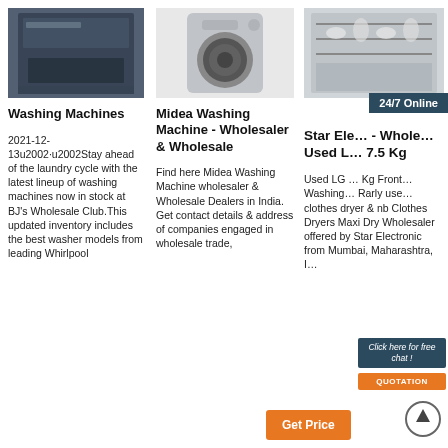[Figure (photo): Stainless steel dishwasher / washing machine (dark front-load)]
Washing Machines
2021-12-13u2002·u2002Stay ahead of the laundry cycle with the latest lineup of washing machines now in stock at BJ's Wholesale Club.This updated inventory includes the best washer models from leading Whirlpool
[Figure (photo): Midea front-load washing machine, silver/grey color]
Midea Washing Machine - Wholesaler & Wholesale
Find here Midea Washing Machine wholesaler & Wholesale Dealers in India. Get contact details & address of companies engaged in wholesale trade,
[Figure (photo): Open dishwasher with dishes inside, kitchen background]
24/7 Online
Star Ele… - Whole… Used L… 7.5 Kg
Used LG … Kg Front… Washing… Rarly used… clothes dryer & nb Clothes Dryers Maxi Dry Wholesaler offered by Star Electronic from Mumbai, Maharashtra, I…
Click here for free chat !
QUOTATION
Get Price